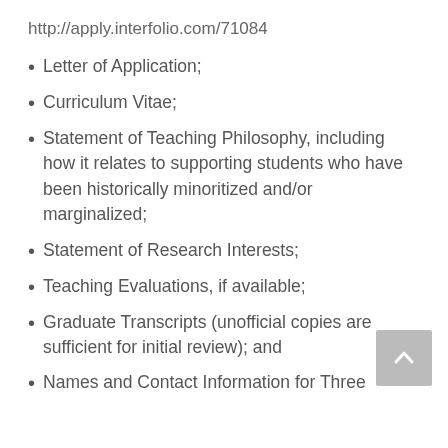http://apply.interfolio.com/71084
Letter of Application;
Curriculum Vitae;
Statement of Teaching Philosophy, including how it relates to supporting students who have been historically minoritized and/or marginalized;
Statement of Research Interests;
Teaching Evaluations, if available;
Graduate Transcripts (unofficial copies are sufficient for initial review); and
Names and Contact Information for Three